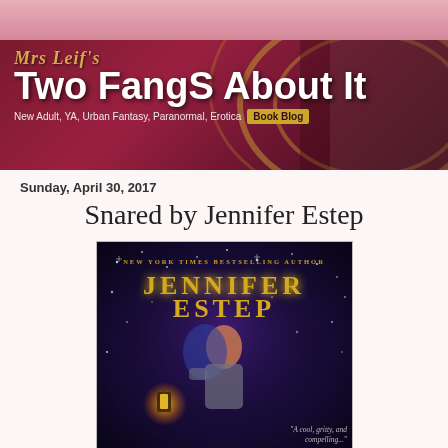[Figure (illustration): Mrs Leif's Two FangS About It book blog banner — dark red/maroon background with gold swirl decorations, white bold text reading 'Two FangS About It', italic gold script 'Mrs Leif's', tagline 'New Adult, YA, Urban Fantasy, Paranormal, Erotica' with gold 'Book Blog' badge, and a woman reading a red book on the right side.]
Sunday, April 30, 2017
Snared by Jennifer Estep
[Figure (illustration): Book cover for 'Snared' by Jennifer Estep — dark purple/navy background with sparkling stars/magic, large gold text 'JENNIFER ESTEP' at top, smaller gold text 'NEW YORK TIMES BESTSELLING AUTHOR', a female figure with auburn hair in the center, a glowing lantern on the lower left, and a partial quote in white italic at the bottom right reading 'A cool, gritty, and compelling...']